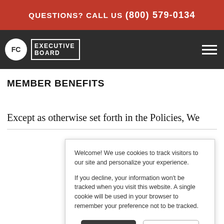QUESTIONS? CALL US (800) 579-0134
[Figure (logo): FC Executive Board logo with white circle FC monogram and white text on dark background, plus hamburger menu icon]
MEMBER BENEFITS
Except as otherwise set forth in the Policies, We
Welcome! We use cookies to track visitors to our site and personalize your experience.

If you decline, your information won't be tracked when you visit this website. A single cookie will be used in your browser to remember your preference not to be tracked.